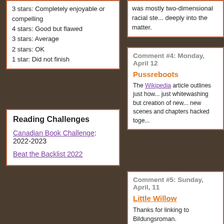3 stars: Completely enjoyable or compelling
4 stars: Good but flawed
3 stars: Average
2 stars: OK
1 star: Did not finish
was mostly two-dimensional racial ste... deeply into the matter.
Reading Challenges
Canadian Book Challenge: 2022-2023
Beat the Backlist 2022
[Figure (infographic): Road Narrative Spectrum Chart - hexagonal grid showing various road narrative types including Utopia Maze, Utopia Labyrinth, Utopia Offroad, Utopia Blue Hwy, Cornfield, Maze, Labyrinth, Offroad categories]
Download a full scale version (PDF)
Comment #4: Monday, April 12
Pussreboots
The Wikipedia article outlines just how... just whitewashing but creation of new... new scenes and chapters hacked toge...
Comment #5: Sunday, April, 11
Little Willow
Thanks for linking to Bildungsroman.